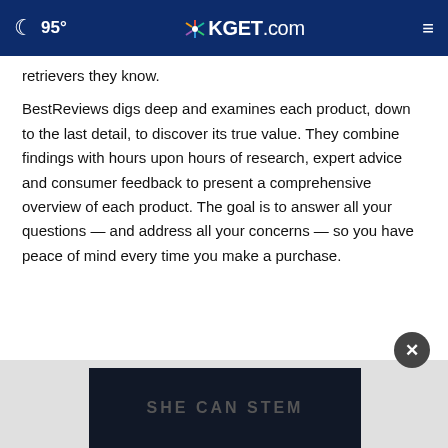95° KGET.com
retrievers they know.
BestReviews digs deep and examines each product, down to the last detail, to discover its true value. They combine findings with hours upon hours of research, expert advice and consumer feedback to present a comprehensive overview of each product. The goal is to answer all your questions — and address all your concerns — so you have peace of mind every time you make a purchase.
[Figure (screenshot): Ad banner at bottom showing 'SHE CAN STEM' text on dark background with a close (X) button overlay]